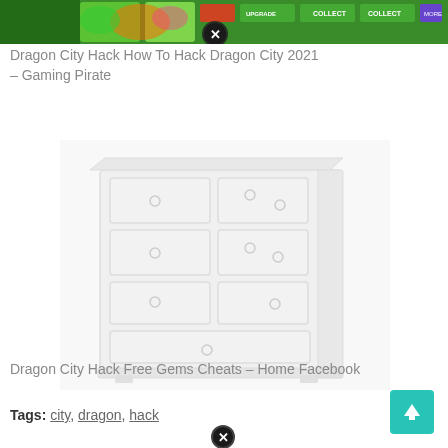[Figure (screenshot): Screenshot of Dragon City mobile game interface with colorful dragon city game UI, green background, showing collect/upgrade buttons and a close X icon overlay.]
Dragon City Hack How To Hack Dragon City 2021 – Gaming Pirate
[Figure (photo): White wooden dresser/chest of drawers with multiple drawers and round knob handles on white background.]
Dragon City Hack Free Gems Cheats – Home Facebook
Tags: city, dragon, hack